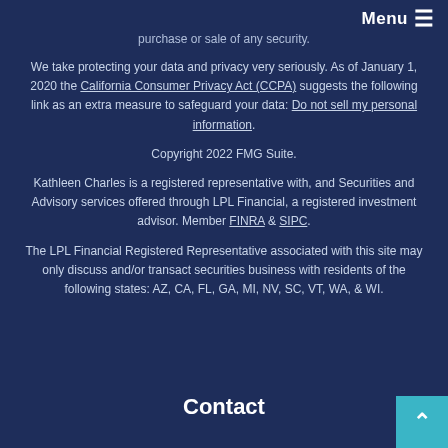Menu ☰
purchase or sale of any security.
We take protecting your data and privacy very seriously. As of January 1, 2020 the California Consumer Privacy Act (CCPA) suggests the following link as an extra measure to safeguard your data: Do not sell my personal information.
Copyright 2022 FMG Suite.
Kathleen Charles is a registered representative with, and Securities and Advisory services offered through LPL Financial, a registered investment advisor. Member FINRA & SIPC.
The LPL Financial Registered Representative associated with this site may only discuss and/or transact securities business with residents of the following states: AZ, CA, FL, GA, MI, NV, SC, VT, WA, & WI.
Contact